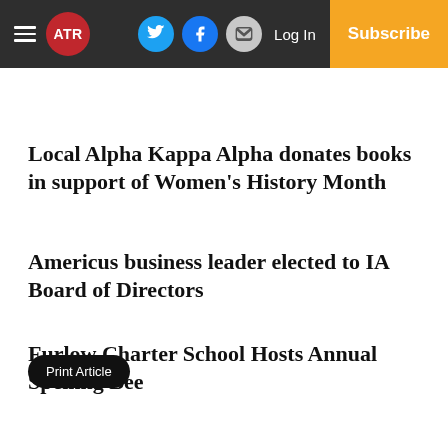ATR | Log In | Subscribe
Local Alpha Kappa Alpha donates books in support of Women's History Month
Americus business leader elected to IA Board of Directors
Furlow Charter School Hosts Annual Spelling Bee
Print Article